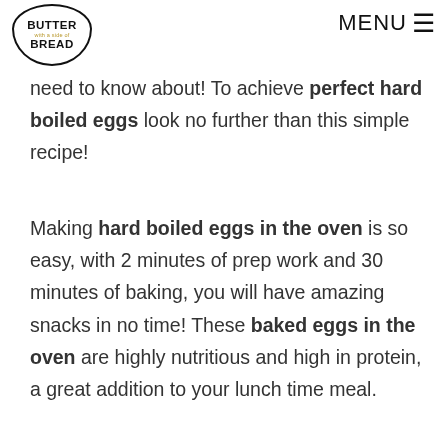BUTTER with a side of BREAD | MENU
need to know about! To achieve perfect hard boiled eggs look no further than this simple recipe!
Making hard boiled eggs in the oven is so easy, with 2 minutes of prep work and 30 minutes of baking, you will have amazing snacks in no time! These baked eggs in the oven are highly nutritious and high in protein, a great addition to your lunch time meal.